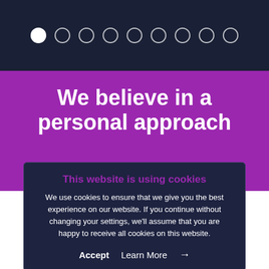[Figure (other): Pagination dots row — one filled white circle followed by eight outlined circles on dark navy background]
We believe in a personal approach
By working closely with our customers at every step of the way we ensure that we exceed their expectations, whilst allowing customers to make all-important decisions themselves.
This website is using cookies
We use cookies to ensure that we give you the best experience on our website. If you continue without changing your settings, we'll assume that you are happy to receive all cookies on this website.
Accept   Learn More →